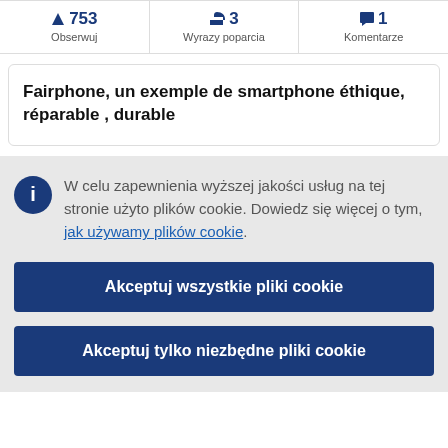| Obserwuj | Wyrazy poparcia | Komentarze |
| --- | --- | --- |
| ▲ 753 | 📢 3 | 🗨 1 |
Fairphone, un exemple de smartphone éthique, réparable , durable
W celu zapewnienia wyższej jakości usług na tej stronie użyto plików cookie. Dowiedz się więcej o tym, jak używamy plików cookie.
Akceptuj wszystkie pliki cookie
Akceptuj tylko niezbędne pliki cookie